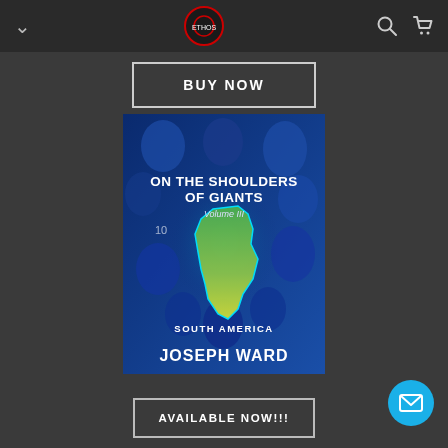[Figure (screenshot): Dark navigation bar with chevron/down arrow on left, circular logo in center, search and cart icons on right]
BUY NOW
[Figure (illustration): Book cover for 'On the Shoulders of Giants Volume III - South America' by Joseph Ward. Blue-toned collage of people's faces with a green/yellow South America map in the center.]
AVAILABLE NOW!!!